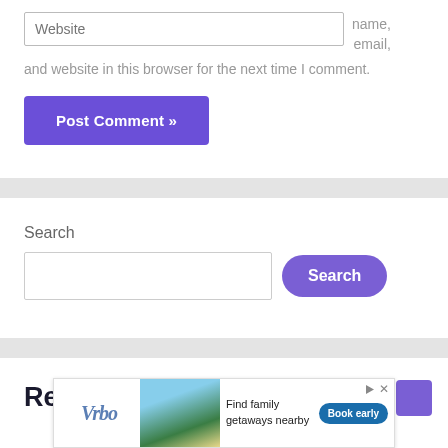Website
name, email, and website in this browser for the next time I comment.
Post Comment »
Search
Search
Recent Posts
[Figure (screenshot): Vrbo advertisement banner: Find family getaways nearby with Book early button]